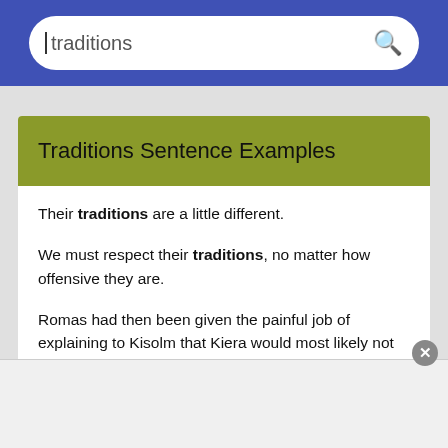traditions
Traditions Sentence Examples
Their traditions are a little different.
We must respect their traditions, no matter how offensive they are.
Romas had then been given the painful job of explaining to Kisolm that Kiera would most likely not meld well with their traditions, and Kisolm would have to be disappointed.